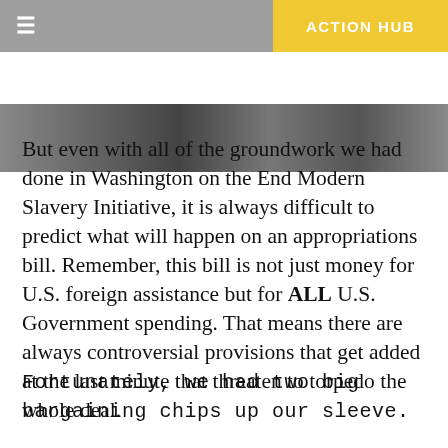≡   ACTION HUB
[Figure (photo): Partial photo strip showing people, cropped at top of page]
But even with all of the groundwork we had done in Washington on the End Modern Slavery Initiative, it is always difficult to predict what will happen on an appropriations bill. Remember, this bill is not just money for U.S. foreign assistance but for ALL U.S. Government spending. That means there are always controversial provisions that get added at the last minute that threaten to torpedo the whole deal.
Fortunately, we had two big bargaining chips up our sleeve.